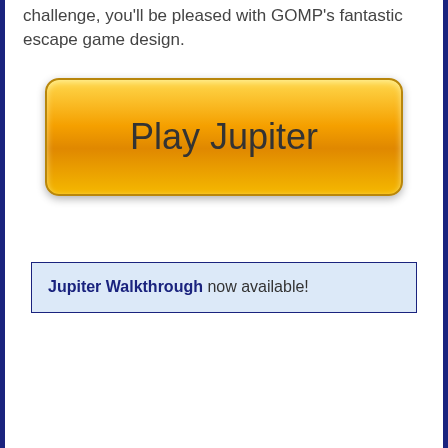challenge, you'll be pleased with GOMP's fantastic escape game design.
[Figure (other): Large orange gradient button with rounded corners labeled 'Play Jupiter']
Jupiter Walkthrough now available!